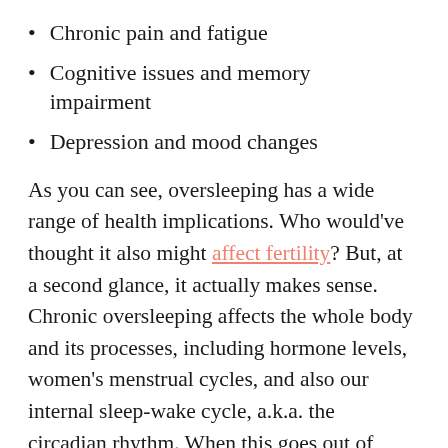Chronic pain and fatigue
Cognitive issues and memory impairment
Depression and mood changes
As you can see, oversleeping has a wide range of health implications. Who would've thought it also might affect fertility? But, at a second glance, it actually makes sense. Chronic oversleeping affects the whole body and its processes, including hormone levels, women's menstrual cycles, and also our internal sleep-wake cycle, a.k.a. the circadian rhythm. When this goes out of balance, it can also be detrimental to our reproductive system.